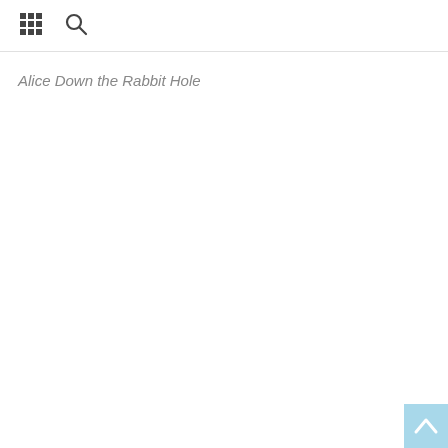Alice Down the Rabbit Hole
[Figure (other): Back to top arrow button in light blue square at bottom right corner]